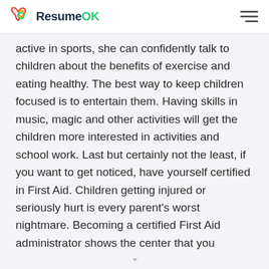ResumeOK
active in sports, she can confidently talk to children about the benefits of exercise and eating healthy. The best way to keep children focused is to entertain them. Having skills in music, magic and other activities will get the children more interested in activities and school work. Last but certainly not the least, if you want to get noticed, have yourself certified in First Aid. Children getting injured or seriously hurt is every parent's worst nightmare. Becoming a certified First Aid administrator shows the center that you